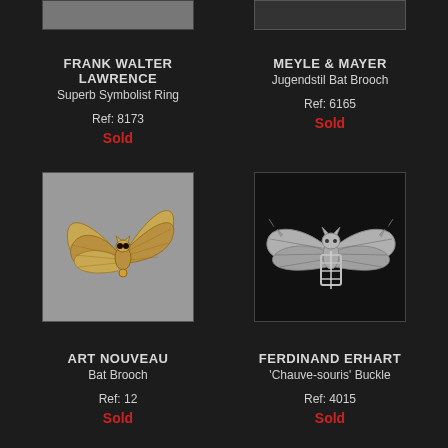[Figure (photo): Partial top image of symbolist ring on grey background]
[Figure (photo): Partial top image of Jugendstil bat brooch on dark background]
FRANK WALTER LAWRENCE
Superb Symbolist Ring
Ref: 8173
Sold
MEYLE & MAYER
Jugendstil Bat Brooch
Ref: 6165
Sold
[Figure (photo): Art Nouveau gold bat brooch on grey background]
[Figure (photo): Ferdinand Erhart silver Chauve-souris buckle on dark background]
ART NOUVEAU
Bat Brooch
Ref: 12
Sold
FERDINAND ERHART
'Chauve-souris' Buckle
Ref: 4015
Sold